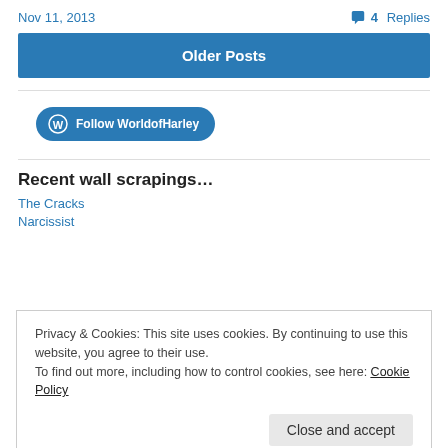Nov 11, 2013 | 4 Replies
[Figure (other): Older Posts button - blue rectangle with white bold text]
[Figure (other): Follow WorldofHarley button - blue pill-shaped button with WordPress icon]
Recent wall scrapings…
The Cracks
Narcissist
Privacy & Cookies: This site uses cookies. By continuing to use this website, you agree to their use.
To find out more, including how to control cookies, see here: Cookie Policy
Close and accept
The Precipice